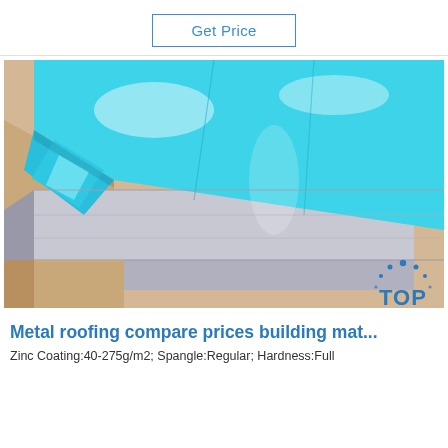Get Price
[Figure (photo): Stacked metal sheets with blue protective film coating on top, showing reflective zinc-coated steel material on a light background]
[Figure (logo): TOP logo with blue dots arc above and blue text]
Metal roofing compare prices building mat...
Zinc Coating:40-275g/m2; Spangle:Regular; Hardness:Full